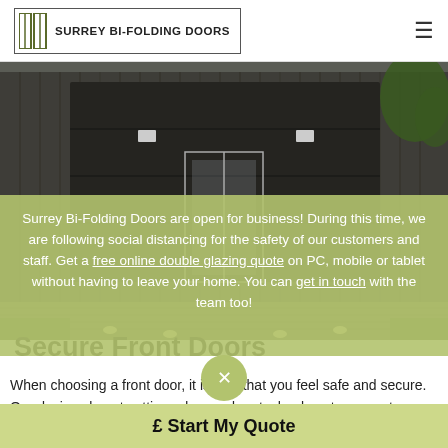SURREY BI-FOLDING DOORS
[Figure (photo): Modern garage/front door — dark wood/metal cladding with a large dark garage door and glass entry door, exterior shot]
Surrey Bi-Folding Doors are open for business! During this time, we are following social distancing for the safety of our customers and staff. Get a free online double glazing quote on PC, mobile or tablet without having to leave your home. You can get in touch with the team too!
Secure Front Doors
When choosing a front door, it is vital that you feel safe and secure. Our designs boast cutting edge modern technology to prevent unwanted visitors in your home. You can feel safe and secure when choosing a front door for your Leatherhead home. Get in touch today to discuss our double
£ Start My Quote